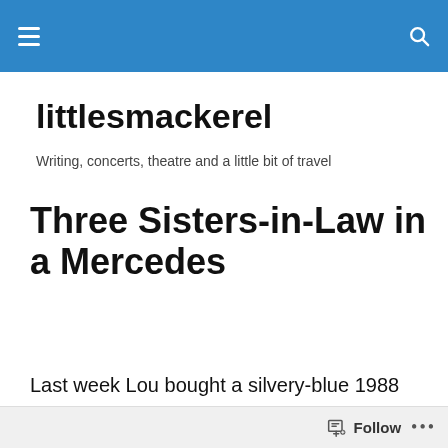littlesmackerel — Writing, concerts, theatre and a little bit of travel
littlesmackerel
Writing, concerts, theatre and a little bit of travel
Three Sisters-in-Law in a Mercedes
Last week Lou bought a silvery-blue 1988 Mercedes 260E from a dealer who smelled of Old Spice after-shave and wore a black silk shirt. Now the three sisters-in-law were
Follow •••